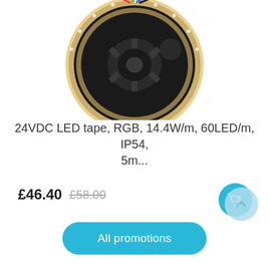[Figure (photo): A reel of RGB LED tape (24VDC, 14.4W/m, 60LED/m, IP54, 5m) with coloured wires protruding, coiled on a black plastic spool, product image on white background.]
24VDC LED tape, RGB, 14.4W/m, 60LED/m, IP54, 5m...
£46.40  £58.00